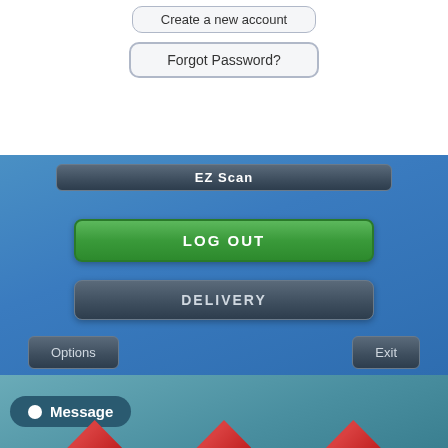[Figure (screenshot): White background top section with two buttons: 'Create a new account' (outlined rounded button) and 'Forgot Password?' (outlined rounded button larger)]
[Figure (screenshot): Blue gradient panel showing EZ Scan app interface with LOG OUT green button, DELIVERY gray button, and Options/Exit buttons at bottom]
[Figure (screenshot): Teal/blue-gray panel at bottom showing a Message pill button with white dot icon, and three red arrow graphics at bottom edge]